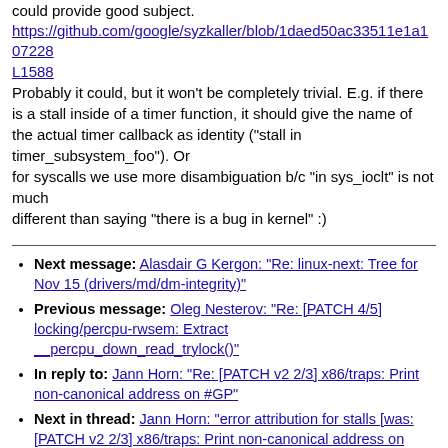could provide good subject.
https://github.com/google/syzkaller/blob/1daed50ac33511e1a107228L1588
Probably it could, but it won't be completely trivial. E.g. if there is a stall inside of a timer function, it should give the name of the actual timer callback as identity ("stall in timer_subsystem_foo"). Or
for syscalls we use more disambiguation b/c "in sys_ioclt" is not much
different than saying "there is a bug in kernel" :)
Next message: Alasdair G Kergon: "Re: linux-next: Tree for Nov 15 (drivers/md/dm-integrity)"
Previous message: Oleg Nesterov: "Re: [PATCH 4/5] locking/percpu-rwsem: Extract __percpu_down_read_trylock()"
In reply to: Jann Horn: "Re: [PATCH v2 2/3] x86/traps: Print non-canonical address on #GP"
Next in thread: Jann Horn: "error attribution for stalls [was: [PATCH v2 2/3] x86/traps: Print non-canonical address on #GP]"
Messages sorted by: [ date ] [ thread ] [ subject ] [ author ]